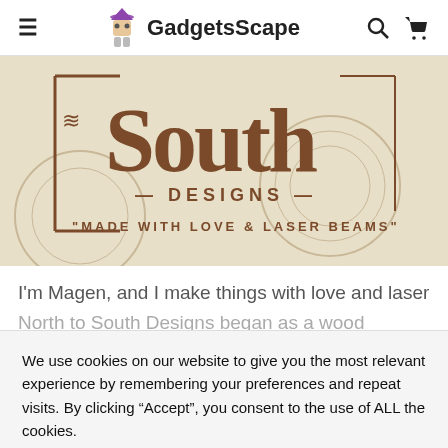GadgetsScape
[Figure (photo): North to South Designs banner image with text 'SOUTH DESIGNS - MADE WITH LOVE & LASER BEAMS' on a beige/cream background with decorative elements]
I'm Magen, and I make things with love and laser beams!
North to South Designs began as a wood crafting hobby 7
We use cookies on our website to give you the most relevant experience by remembering your preferences and repeat visits. By clicking “Accept”, you consent to the use of ALL the cookies.
Do not sell my personal information.
Cookie settings
ACCEPT